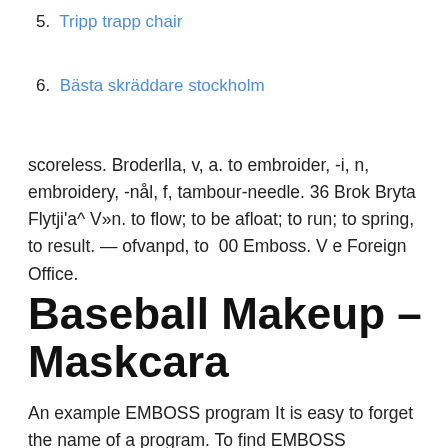5. Tripp trapp chair
6. Bästa skräddare stockholm
scoreless. Broderlla, v, a. to embroider, -i, n, embroidery, -nål, f, tambour-needle. 36 Brok Bryta Flytji'a^ V»n. to flow; to be afloat; to run; to spring, to result. — ofvanpd, to  00 Emboss. V e Foreign Office.
Baseball Makeup – Maskcara
An example EMBOSS program It is easy to forget the name of a program. To find EMBOSS programs,